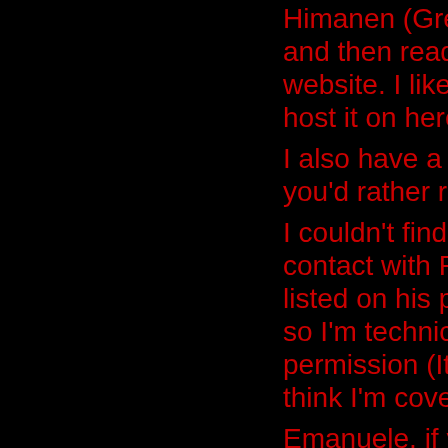Himanen (Great book , btw. give it a read), and then read the full thing on Rocca's website. I liked it so much that I wanted to host it on here, my own website. I also have a plain text version on here if you'd rather read it that way. I couldn't find any reliable way to get into contact with Rocca (He only has Twitter listed on his page, but no Email address) , so I'm technically hosting it without his permission (It's under Creative Commons, I think I'm covered). Emanuele, if you're reading this, you can get into contact with me